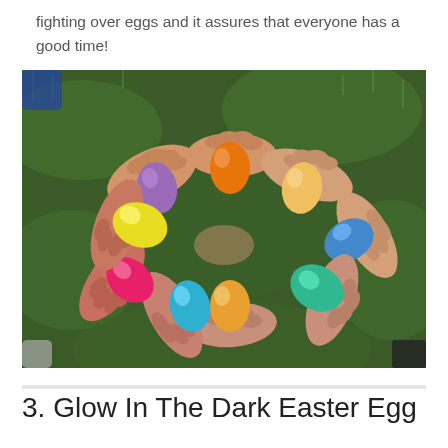fighting over eggs and it assures that everyone has a good time!
[Figure (photo): Multiple hands of children arranged in a circle, each holding a brightly colored Easter egg (purple, orange, yellow, blue, red/pink, teal, green, orange) over green grass background.]
3. Glow In The Dark Easter Egg